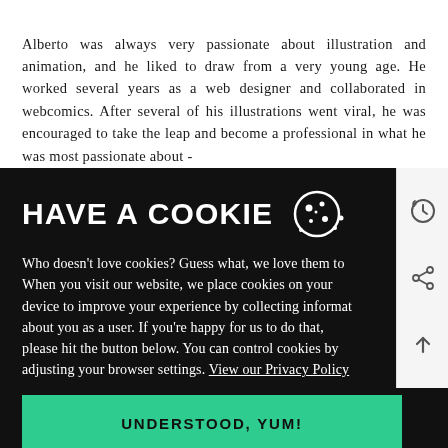Alberto was always very passionate about illustration and animation, and he liked to draw from a very young age. He worked several years as a web designer and collaborated in webcomics. After several of his illustrations went viral, he was encouraged to take the leap and become a professional in what he was most passionate about -
HAVE A COOKIE
Who doesn't love cookies? Guess what, we love them too. When you visit our website, we place cookies on your device to improve your experience by collecting information about you as a user. If you're happy for us to do that, please hit the button below. You can control cookies by adjusting your browser settings. View our Privacy Policy